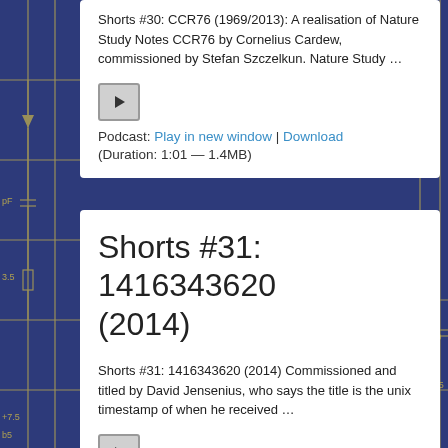Shorts #30: CCR76 (1969/2013): A realisation of Nature Study Notes CCR76 by Cornelius Cardew, commissioned by Stefan Szczelkun. Nature Study …
Podcast: Play in new window | Download
(Duration: 1:01 — 1.4MB)
Shorts #31: 1416343620 (2014)
Shorts #31: 1416343620 (2014) Commissioned and titled by David Jensenius, who says the title is the unix timestamp of when he received …
Podcast: Play in new window | Download
(Duration: 1:05 — 1.5MB)